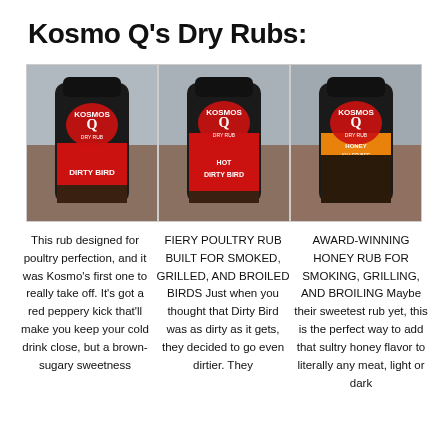Kosmo Q's Dry Rubs:
[Figure (photo): Three Kosmo Q dry rub spice bottles side by side: Dirty Bird (red label), Hot Dirty Bird (red label), and Honey Killer Bee (orange label)]
This rub designed for poultry perfection, and it was Kosmo's first one to really take off. It's got a red peppery kick that'll make you keep your cold drink close, but a brown-sugary sweetness
FIERY POULTRY RUB BUILT FOR SMOKED, GRILLED, AND BROILED BIRDS Just when you thought that Dirty Bird was as dirty as it gets, they decided to go even dirtier. They
AWARD-WINNING HONEY RUB FOR SMOKING, GRILLING, AND BROILING Maybe their sweetest rub yet, this is the perfect way to add that sultry honey flavor to literally any meat, light or dark